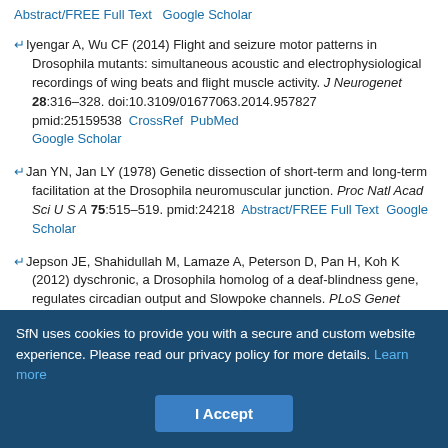Abstract/FREE Full Text   Google Scholar
Iyengar A, Wu CF (2014) Flight and seizure motor patterns in Drosophila mutants: simultaneous acoustic and electrophysiological recordings of wing beats and flight muscle activity. J Neurogenet 28:316–328. doi:10.3109/01677063.2014.957827 pmid:25159538  CrossRef  PubMed  Google Scholar
Jan YN, Jan LY (1978) Genetic dissection of short-term and long-term facilitation at the Drosophila neuromuscular junction. Proc Natl Acad Sci U S A 75:515–519. pmid:24218  Abstract/FREE Full Text  Google Scholar
Jepson JE, Shahidullah M, Lamaze A, Peterson D, Pan H, Koh K (2012) dyschronic, a Drosophila homolog of a deaf-blindness gene, regulates circadian output and Slowpoke channels. PLoS Genet 8:e1002671. doi:10.1371/journal.pgen.1002671 pmid:22532808  CrossRef  PubMed  Google Scholar
SfN uses cookies to provide you with a secure and custom website experience. Please read our privacy policy for more details. Learn more
I Accept